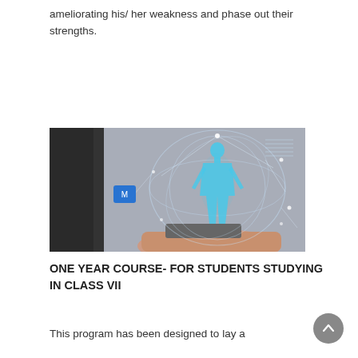ameliorating his/ her weakness and phase out their strengths.
READ MORE
[Figure (photo): A hand holding a smartphone with a glowing blue holographic human body figure surrounded by circular network lines and data points, representing digital health or medical technology.]
ONE YEAR COURSE- FOR STUDENTS STUDYING IN CLASS VII
This program has been designed to lay a